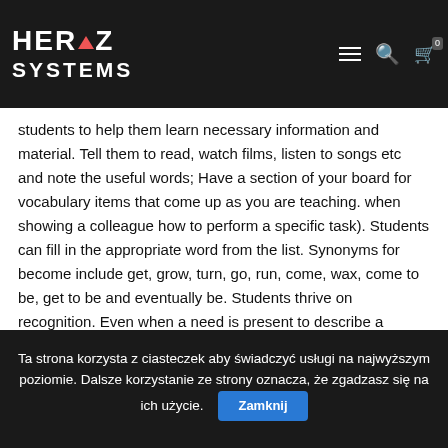HERTZ SYSTEMS
students to help them learn necessary information and material. Tell them to read, watch films, listen to songs etc and note the useful words; Have a section of your board for vocabulary items that come up as you are teaching. when showing a colleague how to perform a specific task). Students can fill in the appropriate word from the list. Synonyms for become include get, grow, turn, go, run, come, wax, come to be, get to be and eventually be. Students thrive on recognition. Even when a need is present to describe a particular weakness, there are ways to create a positive spin by turning what a student lacks into what a â¦ opment in reading words correctly, knowing the meaning of a word within several different contexts, using words in reading as well as writing, using word-learning strategies, and being word conscious. There are many ways to teach
Ta strona korzysta z ciasteczek aby świadczyć usługi na najwyższym poziomie. Dalsze korzystanie ze strony oznacza, że zgadzasz się na ich użycie. Zamknij